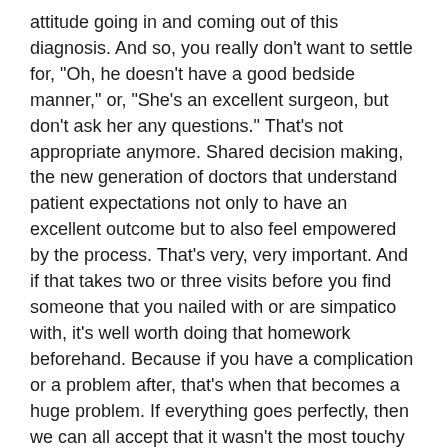attitude going in and coming out of this diagnosis. And so, you really don't want to settle for, "Oh, he doesn't have a good bedside manner," or, "She's an excellent surgeon, but don't ask her any questions." That's not appropriate anymore. Shared decision making, the new generation of doctors that understand patient expectations not only to have an excellent outcome but to also feel empowered by the process. That's very, very important. And if that takes two or three visits before you find someone that you nailed with or are simpatico with, it's well worth doing that homework beforehand. Because if you have a complication or a problem after, that's when that becomes a huge problem. If everything goes perfectly, then we can all accept that it wasn't the most touchy feely visit that we wanted, but when things don't go well, which they don't about one and a half percent of the time, even in the best of hand, you want someone that will stand by you, that will take responsibility and get you through that problem.
Melanie:  In just the last minute, Dr. McGrory, if you would,